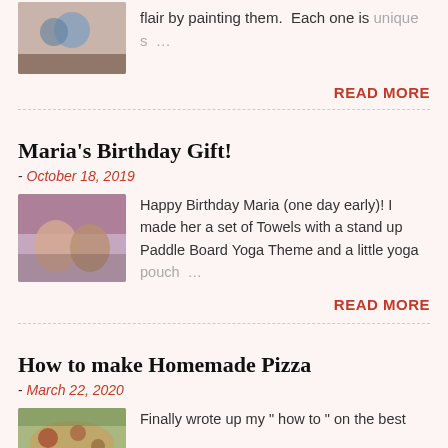[Figure (photo): Thumbnail image, top of page, partially cropped]
flair by painting them.  Each one is unique s …
READ MORE
Maria's Birthday Gift!
- October 18, 2019
[Figure (photo): Photo of two people smiling, one holding something]
Happy Birthday Maria (one day early)! I made her a set of Towels with a stand up Paddle Board Yoga Theme and a little yoga pouch …
READ MORE
How to make Homemade Pizza
- March 22, 2020
[Figure (photo): Photo of pizza or food ingredients]
Finally wrote up my " how to " on the best